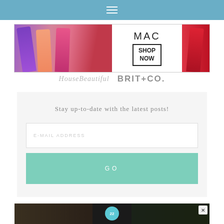Navigation bar with hamburger menu
[Figure (photo): MAC cosmetics advertisement banner showing lipsticks in pink, purple, and red with MAC logo and SHOP NOW button]
[Figure (logo): HouseBeautiful and Brit+Co. logos]
Stay up-to-date with the latest posts!
E-MAIL ADDRESS
GO
[Figure (photo): Advertisement for 37 ITEMS PEOPLE with close button and badge showing 22]